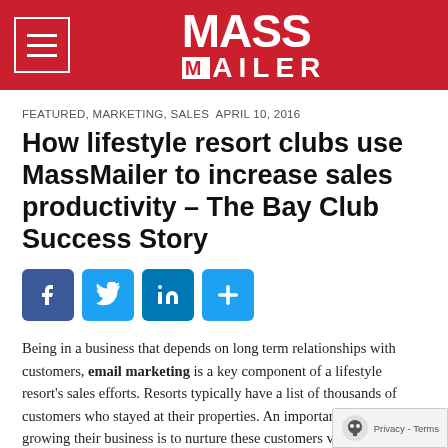[Figure (logo): MassMailer logo in white text on red background header bar, with hamburger menu icon on left]
FEATURED, MARKETING, SALES APRIL 10, 2016
How lifestyle resort clubs use MassMailer to increase sales productivity – The Bay Club Success Story
[Figure (infographic): Social sharing buttons: Facebook, Twitter, LinkedIn, and More (plus icon)]
Being in a business that depends on long term relationships with customers, email marketing is a key component of a lifestyle resort's sales efforts. Resorts typically have a list of thousands of customers who stayed at their properties. An important part of growing their business is to nurture these customers via email